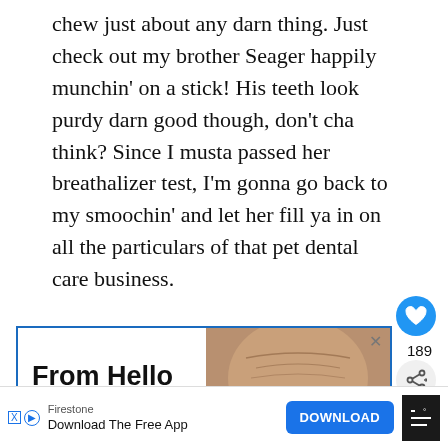chew just about any darn thing. Just check out my brother Seager happily munchin' on a stick! His teeth look purdy darn good though, don't cha think? Since I musta passed her breathalizer test, I'm gonna go back to my smoochin' and let her fill ya in on all the particulars of that pet dental care business.
[Figure (screenshot): Advertisement with elderly man's face on right, text 'From Hello to Help, 211 is Here' on left]
[Figure (screenshot): Bottom banner ad: Firestone Download The Free App with DOWNLOAD button and weather widget]